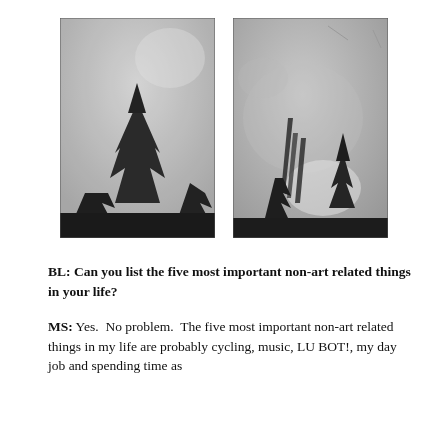[Figure (photo): Two black-and-white photographs side by side, both showing conifer/pine trees from below against a grey overcast sky. Left photo: a tall pine tree centered, dark foliage at bottom half, grey sky above. Right photo: smaller dark trees/grasses at bottom, grey textured sky above.]
BL: Can you list the five most important non-art related things in your life?
MS: Yes.  No problem.  The five most important non-art related things in my life are probably cycling, music, LU BOT!, my day job and spending time as